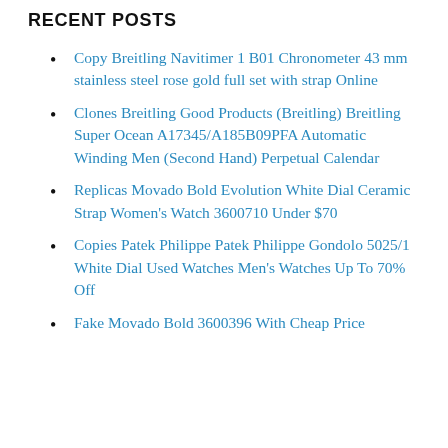RECENT POSTS
Copy Breitling Navitimer 1 B01 Chronometer 43 mm stainless steel rose gold full set with strap Online
Clones Breitling Good Products (Breitling) Breitling Super Ocean A17345/A185B09PFA Automatic Winding Men (Second Hand) Perpetual Calendar
Replicas Movado Bold Evolution White Dial Ceramic Strap Women's Watch 3600710 Under $70
Copies Patek Philippe Patek Philippe Gondolo 5025/1 White Dial Used Watches Men's Watches Up To 70% Off
Fake Movado Bold 3600396 With Cheap Price